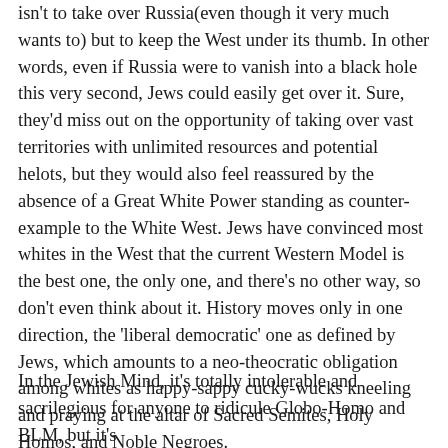isn't to take over Russia(even though it very much wants to) but to keep the West under its thumb. In other words, even if Russia were to vanish into a black hole this very second, Jews could easily get over it. Sure, they'd miss out on the opportunity of taking over vast territories with unlimited resources and potential helots, but they would also feel reassured by the absence of a Great White Power standing as counter-example to the White West. Jews have convinced most whites in the West that the current Western Model is the best one, the only one, and there's no other way, so don't even think about it. History moves only in one direction, the 'liberal democratic' one as defined by Jews, which amounts to a neo-theocratic obligation among whites as happy-sappy cucky-wucks kneeling and praying at the altar of Sacred Semites, Holy Homos, and Noble Negroes.
In the Jewish Mind, it's totally intolerable and sacrilegious for anyone to ridicule Globo-Homo and BLM, but it's